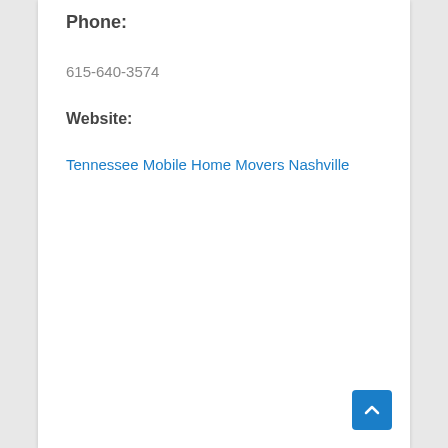Phone:
615-640-3574
Website:
Tennessee Mobile Home Movers Nashville